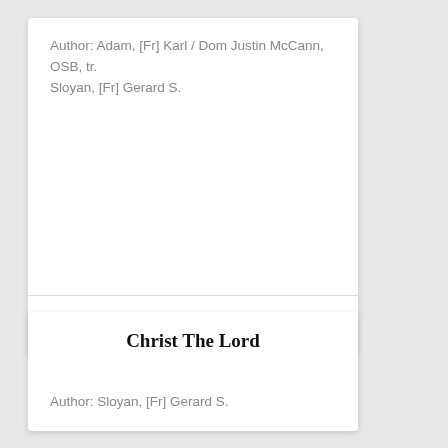Author: Adam, [Fr] Karl / Dom Justin McCann, OSB, tr.
Sloyan, [Fr] Gerard S.
$23.30
Christ The Lord
Author: Sloyan, [Fr] Gerard S.